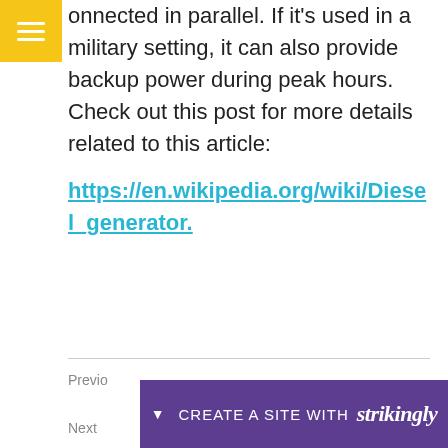[Figure (logo): Yellow/amber square with three white horizontal lines (hamburger menu icon) in top-left corner]
onnected in parallel. If it's used in a military setting, it can also provide backup power during peak hours. Check out this post for more details related to this article:
https://en.wikipedia.org/wiki/Diesel_generator.
Previo
Next
[Figure (screenshot): Purple banner bar with down arrow, 'CREATE A SITE WITH' text and 'strikingly' brand logo in italic]